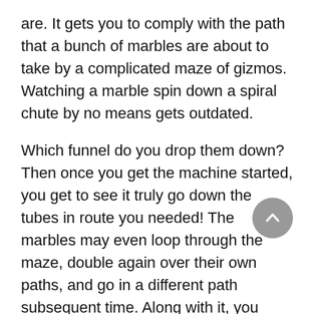are. It gets you to comply with the path that a bunch of marbles are about to take by a complicated maze of gizmos. Watching a marble spin down a spiral chute by no means gets outdated.
Which funnel do you drop them down? Then once you get the machine started, you get to see it truly go down the tubes in route you needed! The marbles may even loop through the maze, double again over their own paths, and go in a different path subsequent time. Along with it, you might even get a special invite to join our exclusive VIP Club. The principle addition right here is the check to see if all of the results of the authorized moves are within the performs dictionary. This method additionally